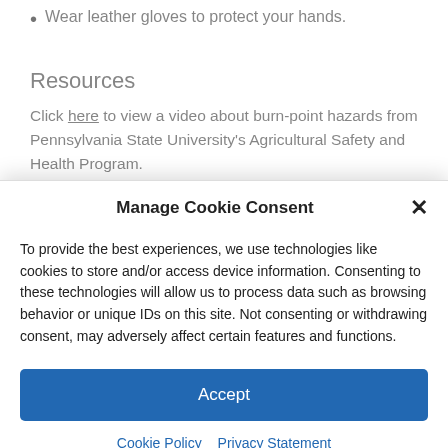Wear leather gloves to protect your hands.
Resources
Click here to view a video about burn-point hazards from Pennsylvania State University's Agricultural Safety and Health Program.
Manage Cookie Consent
To provide the best experiences, we use technologies like cookies to store and/or access device information. Consenting to these technologies will allow us to process data such as browsing behavior or unique IDs on this site. Not consenting or withdrawing consent, may adversely affect certain features and functions.
Accept
Cookie Policy  Privacy Statement